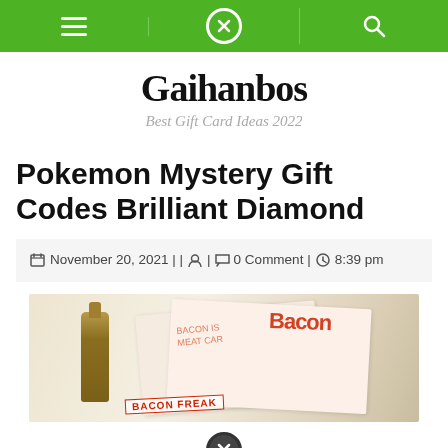Navigation bar with menu icon, close icon, and search icon
Gaihanbos
Best Gift Card Ideas 2022
Pokemon Mystery Gift Codes Brilliant Diamond
November 20, 2021 | | 0 Comment | 8:39 pm
[Figure (photo): Image of bacon-themed gift products including a small bottle, bacon-branded cards and magazines on a light background]
[Figure (other): Close/cancel circle icon at the bottom of the page]